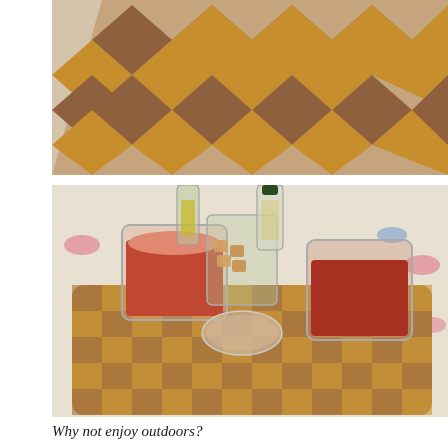[Figure (photo): Close-up of a wooden checkerboard-pattern cutting board with diamond/checkerboard design in light and dark wood tones, partially cropped at top.]
[Figure (photo): Two glasses of gazpacho (tomato-based cold soup) served on a checkerboard wooden cutting board. In the center is a small glass bowl with toppings and a glass of croutons. In the background are two bottles of olive oil and vinegar, and a floral embroidered tablecloth.]
Why not enjoy outdoors?